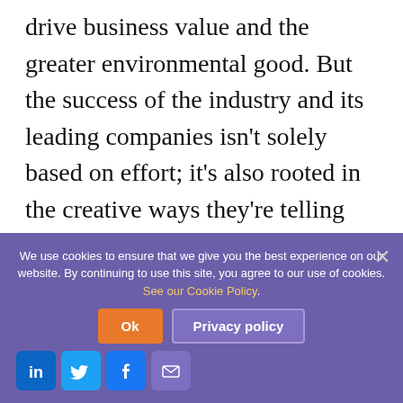drive business value and the greater environmental good. But the success of the industry and its leading companies isn't solely based on effort; it's also rooted in the creative ways they're telling their sustainability stories.
Every company engaging in sustainability has an important story to tell—the story of how sustainable behavior leads to improved business success. In other words, you have an opportunity to share
We use cookies to ensure that we give you the best experience on our website. By continuing to use this site, you agree to our use of cookies. See our Cookie Policy.
Ok | Privacy policy | [LinkedIn] [Twitter] [Facebook] [Email]